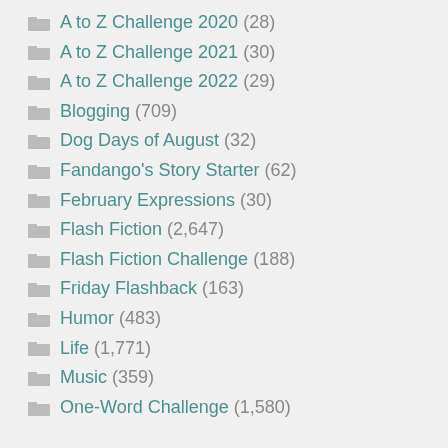A to Z Challenge 2020 (28)
A to Z Challenge 2021 (30)
A to Z Challenge 2022 (29)
Blogging (709)
Dog Days of August (32)
Fandango's Story Starter (62)
February Expressions (30)
Flash Fiction (2,647)
Flash Fiction Challenge (188)
Friday Flashback (163)
Humor (483)
Life (1,771)
Music (359)
One-Word Challenge (1,580)